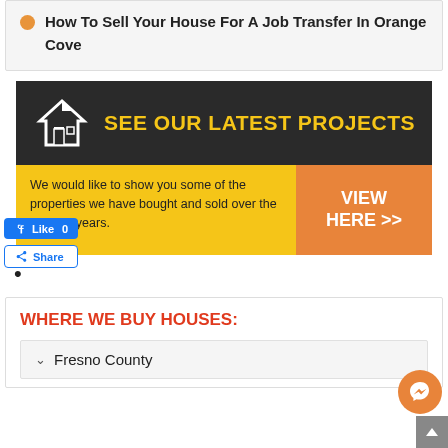How To Sell Your House For A Job Transfer In Orange Cove
[Figure (infographic): Dark banner with house icon and text SEE OUR LATEST PROJECTS in yellow, with a yellow panel showing description text and an orange VIEW HERE >> button]
We would like to show you some of the properties we have bought and sold over the last few years.
VIEW HERE >>
WHERE WE BUY HOUSES:
Fresno County